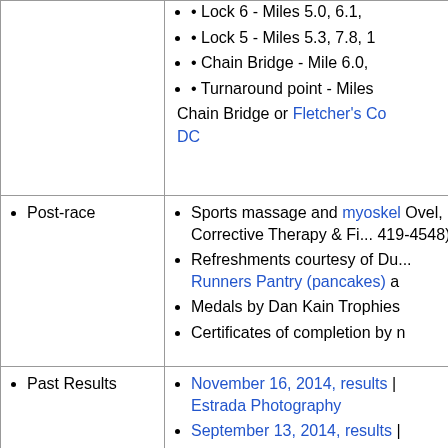| • access | • Lock 6 - Miles 5.0, 6.1, ...
• Lock 5 - Miles 5.3, 7.8, 1...
• Chain Bridge - Mile 6.0, ...
• Turnaround point - Miles ... Chain Bridge or Fletcher's Co... DC |
| • Post-race | • Sports massage and myoskel... Ovel, Corrective Therapy & Fi... 419-4548)
• Refreshments courtesy of Du... Runners Pantry (pancakes) a...
• Medals by Dan Kain Trophies...
• Certificates of completion by n... |
| • Past Results | • November 16, 2014, results | ... Estrada Photography
• September 13, 2014, results |... |